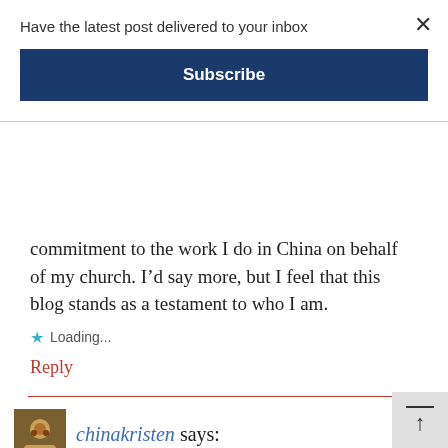Have the latest post delivered to your inbox
Subscribe
commitment to the work I do in China on behalf of my church. I’d say more, but I feel that this blog stands as a testament to who I am.
Loading...
Reply
chinakristen says:
October 16, 2012 at 8:57 am
@Shards of China: It’s just a different cult